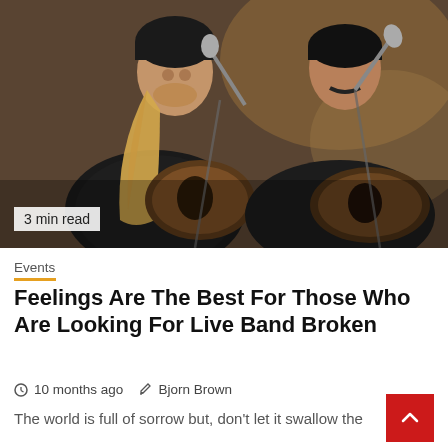[Figure (photo): Two male musicians performing live, one with long blonde hair wearing a black beanie playing a mandolin, another with a mustache also playing an instrument, both at microphones in a dimly lit venue]
3 min read
Events
Feelings Are The Best For Those Who Are Looking For Live Band Broken
10 months ago  Bjorn Brown
The world is full of sorrow but, don't let it swallow the